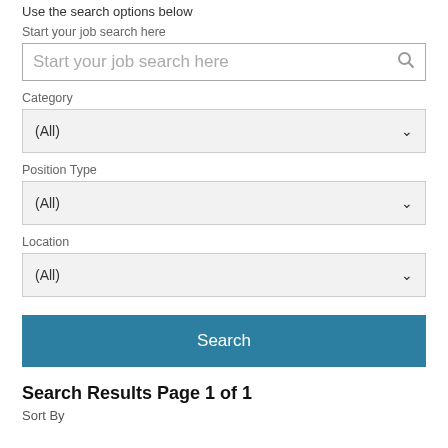Use the search options below
Start your job search here
[Figure (screenshot): Search input box with placeholder text 'Start your job search here' and a magnifying glass icon on the right]
Category
[Figure (screenshot): Dropdown selector showing '(All)' with a chevron down arrow, light gray background]
Position Type
[Figure (screenshot): Dropdown selector showing '(All)' with a chevron down arrow, light gray background]
Location
[Figure (screenshot): Dropdown selector showing '(All)' with a chevron down arrow, light gray background]
[Figure (screenshot): Blue 'Search' button spanning full width]
Search Results Page 1 of 1
Sort By